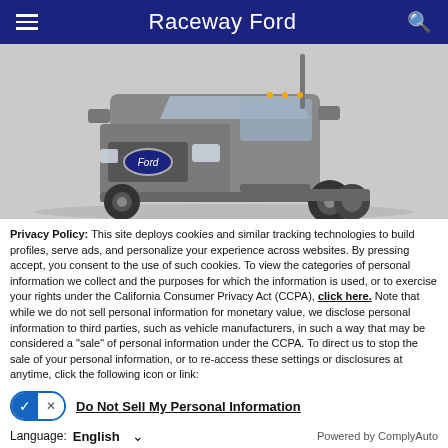Raceway Ford
[Figure (photo): Front 3/4 view of a Ford commercial truck (F-750 or similar) in gray, shown without a bed/body, on a white/gray background.]
Privacy Policy: This site deploys cookies and similar tracking technologies to build profiles, serve ads, and personalize your experience across websites. By pressing accept, you consent to the use of such cookies. To view the categories of personal information we collect and the purposes for which the information is used, or to exercise your rights under the California Consumer Privacy Act (CCPA), click here. Note that while we do not sell personal information for monetary value, we disclose personal information to third parties, such as vehicle manufacturers, in such a way that may be considered a "sale" of personal information under the CCPA. To direct us to stop the sale of your personal information, or to re-access these settings or disclosures at anytime, click the following icon or link:
Do Not Sell My Personal Information
Language: English
Powered by ComplyAuto
ACCEPT AND CONTINUE → | California Privacy Disclosures